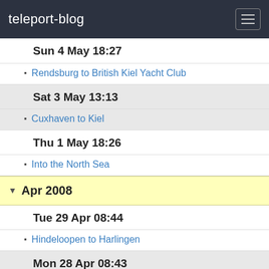teleport-blog
Sun 4 May 18:27
Rendsburg to British Kiel Yacht Club
Sat 3 May 13:13
Cuxhaven to Kiel
Thu 1 May 18:26
Into the North Sea
Apr 2008
Tue 29 Apr 08:44
Hindeloopen to Harlingen
Mon 28 Apr 08:43
Enkhuizen to Hindeloopen
Sun 27 Apr 08:44
Hoorn to Enkhuizen
Sat 26 Apr 08:45